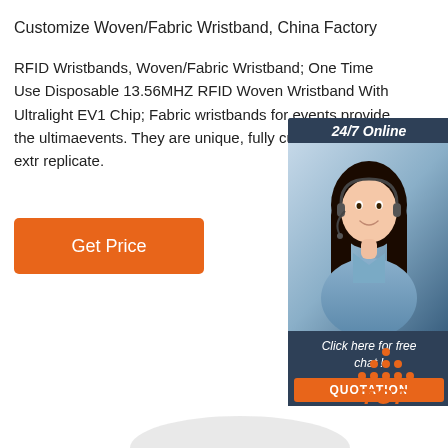Customize Woven/Fabric Wristband, China Factory
RFID Wristbands, Woven/Fabric Wristband; One Time Use Disposable 13.56MHZ RFID Woven Wristband With Ultralight EV1 Chip; Fabric wristbands for events provide the ultima... events. They are unique, fully customisable and extr... replicate.
[Figure (other): Orange 'Get Price' button]
[Figure (other): 24/7 Online chat widget with customer service representative photo, 'Click here for free chat!' text and orange QUOTATION button]
[Figure (other): Orange TOP button with dots forming a triangle/hat shape above the word TOP]
[Figure (other): Light grey rounded arch shape at the bottom of the page]